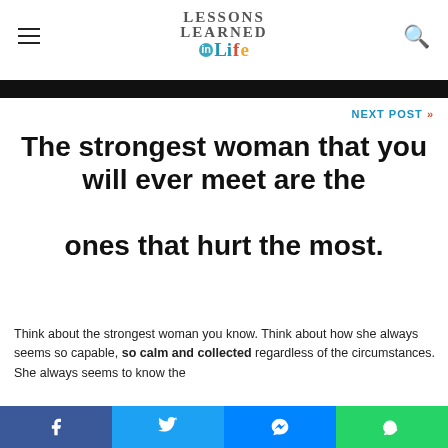Lessons Learned in Life
[Figure (photo): Dark image bar at top of article]
NEXT POST »
The strongest woman that you will ever meet are the ones that hurt the most.
Think about the strongest woman you know. Think about how she always seems so capable, so calm and collected regardless of the circumstances. She always seems to know the
[Figure (infographic): Social share bar with Facebook, Twitter, Messenger, and WhatsApp buttons]